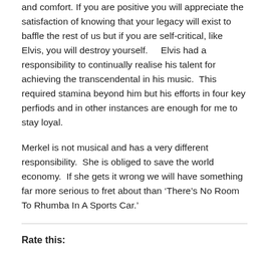and comfort.  If you are positive you will appreciate the satisfaction of knowing that your legacy will exist to baffle the rest of us but if you are self-critical, like Elvis, you will destroy yourself.    Elvis had a responsibility to continually realise his talent for achieving the transcendental in his music.  This required stamina beyond him but his efforts in four key perfiods and in other instances are enough for me to stay loyal.
Merkel is not musical and has a very different responsibility.  She is obliged to save the world economy.  If she gets it wrong we will have something far more serious to fret about than ‘There’s No Room To Rhumba In A Sports Car.’
Rate this: